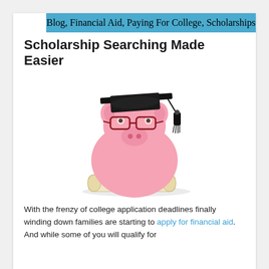Blog, Financial Aid, Paying For College, Scholarships
Scholarship Searching Made Easier
[Figure (photo): A pink piggy bank wearing a black graduation cap and red-framed glasses, with a diploma scroll in front of it]
With the frenzy of college application deadlines finally winding down families are starting to apply for financial aid. And while some of you will qualify for